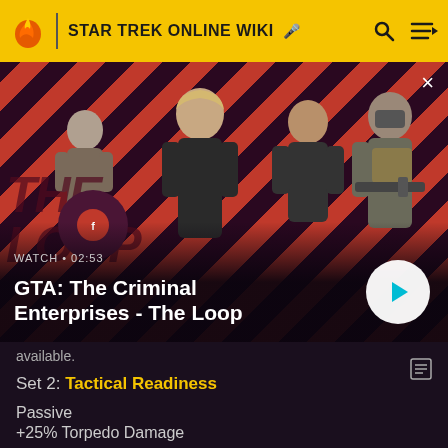STAR TREK ONLINE WIKI
[Figure (screenshot): GTA: The Criminal Enterprises - The Loop video thumbnail with characters on diagonal red/dark stripe background, watch label, duration 02:53, play button]
available.
Set 2: Tactical Readiness
Passive
+25% Torpedo Damage